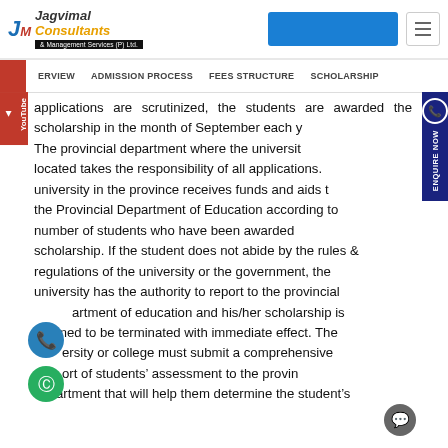[Figure (logo): Jagvimal Consultants & Management Services (P) Ltd. logo with blue icon and orange text]
OVERVIEW | ADMISSION PROCESS | FEES STRUCTURE | SCHOLARSHIP
applications are scrutinized, the students are awarded the scholarship in the month of September each year. The provincial department where the university is located takes the responsibility of all applications. university in the province receives funds and aids from the Provincial Department of Education according to the number of students who have been awarded the scholarship. If the student does not abide by the rules & regulations of the university or the government, the university has the authority to report to the provincial department of education and his/her scholarship is deemed to be terminated with immediate effect. The university or college must submit a comprehensive report of students' assessment to the provincial department that will help them determine the student's